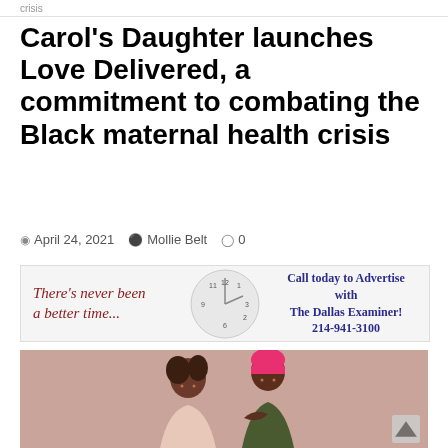crisis
Carol's Daughter launches Love Delivered, a commitment to combating the Black maternal health crisis
April 24, 2021  Mollie Belt  0
[Figure (infographic): Advertisement banner: 'There's never been a better time...' with a clock graphic and text 'Call today to Advertise with The Dallas Examiner! 214-941-3100']
[Figure (photo): Two women posing back to back against a pink/mauve background. One woman on the left wears a light pink top, the other on the right wears a pink beanie hat and an olive/dark jacket.]